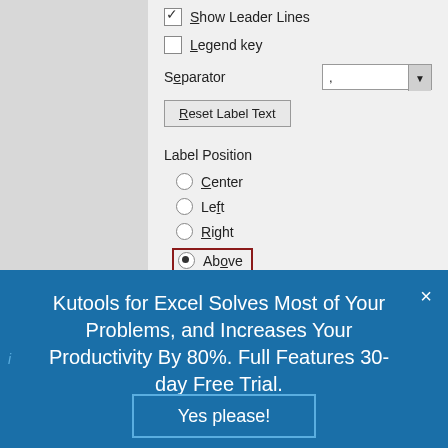[Figure (screenshot): Excel dialog box showing label options: Show Leader Lines (checked), Legend key (unchecked), Separator dropdown with comma, Reset Label Text button, Label Position with radio buttons for Center, Left, Right, Above (selected/highlighted with red border)]
Kutools for Excel Solves Most of Your Problems, and Increases Your Productivity By 80%. Full Features 30-day Free Trial.
Yes please!